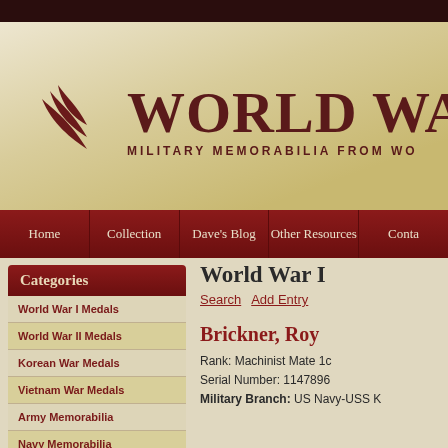WORLD WAR — MILITARY MEMORABILIA FROM WO...
Home
Collection
Dave's Blog
Other Resources
Conta...
Categories
World War I Medals
World War II Medals
Korean War Medals
Vietnam War Medals
Army Memorabilia
Navy Memorabilia
World War I
Search   Add Entry
Brickner, Roy
Rank: Machinist Mate 1c
Serial Number: 1147896
Military Branch: US Navy-USS K...